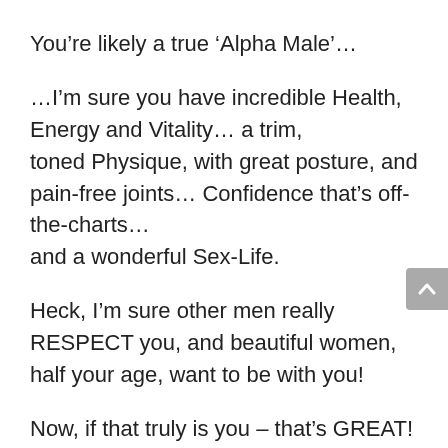You're likely a true 'Alpha Male'…
…I'm sure you have incredible Health, Energy and Vitality… a trim, toned Physique, with great posture, and pain-free joints… Confidence that's off-the-charts… and a wonderful Sex-Life.
Heck, I'm sure other men really RESPECT you, and beautiful women, half your age, want to be with you!
Now, if that truly is you – that's GREAT!
And, if that is the case – you might not need the